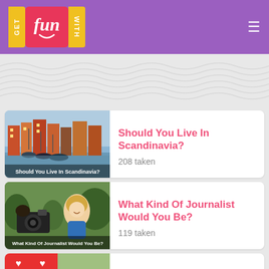[Figure (logo): Get Fun With logo with yellow GET, red fun, yellow WITH tiles]
[Figure (illustration): Wavy pattern decorative background area]
Should You Live In Scandinavia?
208 taken
What Kind Of Journalist Would You Be?
119 taken
Can We Guess How Many Lovers You've Had?
1179 taken